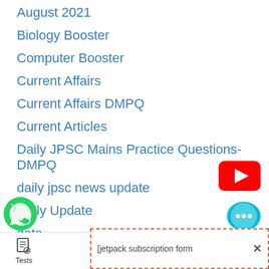August 2021
Biology Booster
Computer Booster
Current Affairs
Current Affairs DMPQ
Current Articles
Daily JPSC Mains Practice Questions- DMPQ
daily jpsc news update
Daily Update
date
Dec 2018
: 2019
[Figure (logo): YouTube play button badge (red rounded rectangle with white triangle)]
[Figure (logo): WhatsApp icon (green phone in speech bubble)]
[Figure (logo): Chat bubble icon (teal/cyan with three dots)]
[jetpack subscription form
Tests